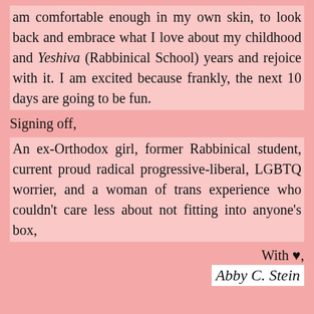am comfortable enough in my own skin, to look back and embrace what I love about my childhood and Yeshiva (Rabbinical School) years and rejoice with it. I am excited because frankly, the next 10 days are going to be fun.
Signing off,
An ex-Orthodox girl, former Rabbinical student, current proud radical progressive-liberal, LGBTQ worrier, and a woman of trans experience who couldn't care less about not fitting into anyone's box,
With ♥,
Abby C. Stein
Abby Stein at 2:10 AM
Share